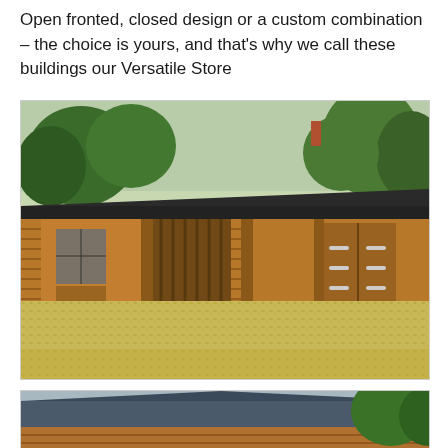Open fronted, closed design or a custom combination – the choice is yours, and that's why we call these buildings our Versatile Store
[Figure (photo): A wooden timber-clad storage building with a dark grey sloping roof. The building has a mix of open-fronted bays with vertical timber slats and closed sections with large wooden doors with metal bar handles. In front of the building is a large gravel/pea shingle driveway area. Behind the building are mature green trees.]
[Figure (photo): Partial view of another wooden building with a dark blue/grey roof, surrounded by trees. Only the top portion is visible at the bottom of the page.]